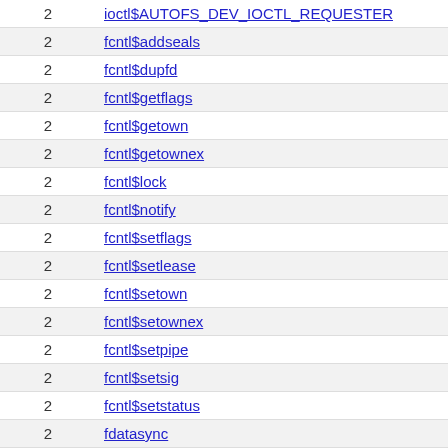|  |  |
| --- | --- |
| 2 | ioctl$AUTOFS_DEV_IOCTL_REQUESTER |
| 2 | fcntl$addseals |
| 2 | fcntl$dupfd |
| 2 | fcntl$getflags |
| 2 | fcntl$getown |
| 2 | fcntl$getownex |
| 2 | fcntl$lock |
| 2 | fcntl$notify |
| 2 | fcntl$setflags |
| 2 | fcntl$setlease |
| 2 | fcntl$setown |
| 2 | fcntl$setownex |
| 2 | fcntl$setpipe |
| 2 | fcntl$setsig |
| 2 | fcntl$setstatus |
| 2 | fdatasync |
| 2 | fgetxattr |
| 2 | finit_module |
| 2 | flistxattr |
| 2 | flock |